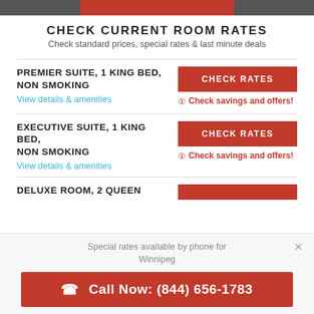CHECK CURRENT ROOM RATES
Check standard prices, special rates & last minute deals
PREMIER SUITE, 1 KING BED, NON SMOKING
View details & amenities
CHECK RATES
Check savings and offers!
EXECUTIVE SUITE, 1 KING BED, NON SMOKING
View details & amenities
CHECK RATES
Check savings and offers!
DELUXE ROOM, 2 QUEEN
Special rates available by phone for Winnipeg
Call Now: (844) 656-1783